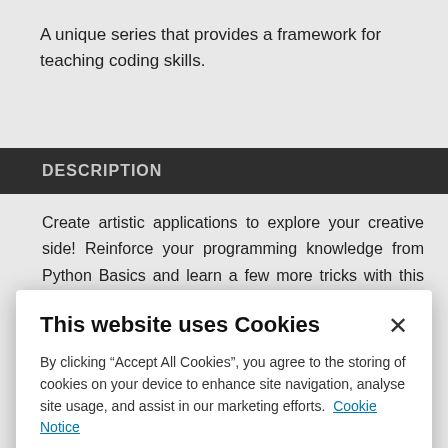A unique series that provides a framework for teaching coding skills.
DESCRIPTION
Create artistic applications to explore your creative side! Reinforce your programming knowledge from Python Basics and learn a few more tricks with this fun level 1 book. Activities include extending your Etch-a-Sketch and building your own drawing app. The code is suitable for Mac...
This website uses Cookies
By clicking “Accept All Cookies”, you agree to the storing of cookies on your device to enhance site navigation, analyse site usage, and assist in our marketing efforts. Cookie Notice
Cookie Settings
Accept All Cookies